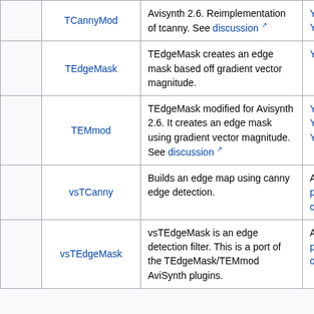|  | Plugin | Description | Compatibility |
| --- | --- | --- | --- |
|  | TCannyMod | Avisynth 2.6. Reimplementation of tcanny. See discussion | YV16, YV24, YV411 |
|  | TEdgeMask | TEdgeMask creates an edge mask based off gradient vector magnitude. | YUY2, YV12 |
|  | TEMmod | TEdgeMask modified for Avisynth 2.6. It creates an edge mask using gradient vector magnitude. See discussion | Y8, YV12, YV16, YV24, YV411 |
|  | vsTCanny | Builds an edge map using canny edge detection. | All 8-32bit planar colorspace |
|  | vsTEdgeMask | vsTEdgeMask is an edge detection filter. This is a port of the TEdgeMask/TEMmod AviSynth plugins. | All 8-16bit planar colorspace |